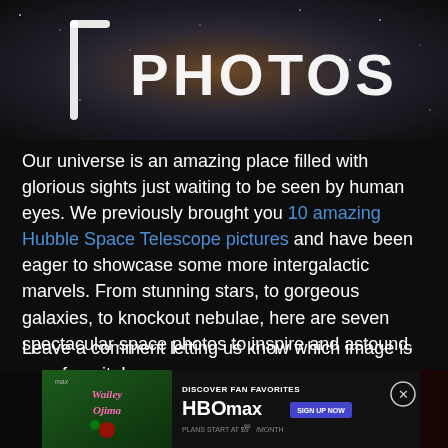[Figure (photo): Dark space-themed banner header with the word PHOTOS in large white text with a glowing bracket/frame icon to the left, set against a cosmic starfield background with warm nebula colors]
Our universe is an amazing place filled with glorious sights just waiting to be seen by human eyes. We previously brought you 10 amazing Hubble Space Telescope pictures and have been eager to showcase some more intergalactic marvels. From stunning stars, to gorgeous galaxies, to knockout nebulae, here are seven spectacular space photos to inspire and astound.
Leave a comment letting us know which image is your favorite!
[Figure (screenshot): HBO Max advertisement banner showing the Wailey Ojima show logo on a green background on the left, with DISCOVER FAN FAVORITES, HBOMAX logo, SIGN UP NOW button, and PLANS START AT $9/MONTH text on the right, plus a close button]